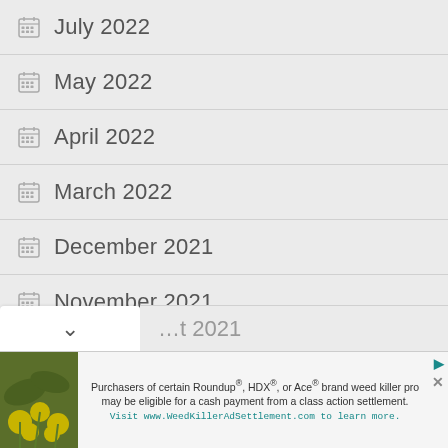July 2022
May 2022
April 2022
March 2022
December 2021
November 2021
October 2021
September 2021
Purchasers of certain Roundup®, HDX®, or Ace® brand weed killer pro may be eligible for a cash payment from a class action settlement. Visit www.WeedKillerAdSettlement.com to learn more.